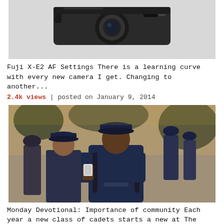[Figure (photo): Close-up photo of a Fuji X-E2 camera on a light gray background, showing lens and top controls.]
Fuji X-E2 AF Settings There is a learning curve with every new camera I get. Changing to another...
2.4k views | posted on January 9, 2014
[Figure (photo): Photo of military cadets in dark navy caps and uniforms standing outdoors. A young Black man in the foreground holds a small book or card, wearing a backpack harness. Other cadets visible in background.]
Monday Devotional: Importance of community Each year a new class of cadets starts a new at The Citadel. They come in...